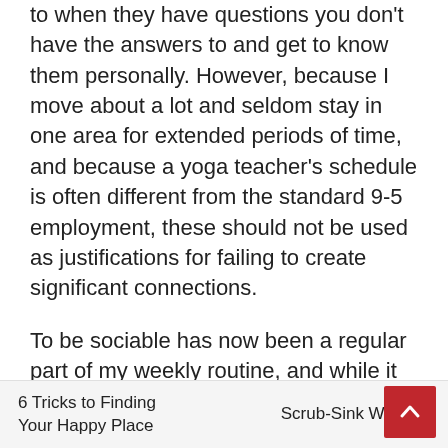to when they have questions you don't have the answers to and get to know them personally. However, because I move about a lot and seldom stay in one area for extended periods of time, and because a yoga teacher's schedule is often different from the standard 9-5 employment, these should not be used as justifications for failing to create significant connections.
To be sociable has now been a regular part of my weekly routine, and while it has not had a significant influence on my psychological well-being, it has opened the door to many new chances, both personal and professional.
6 Tricks to Finding Your Happy Place   Scrub-Sink Wisdom